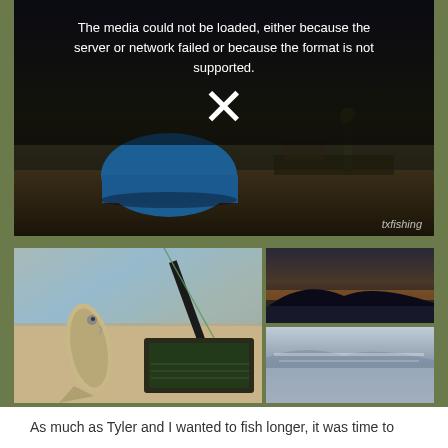[Figure (photo): Video player showing error message: 'The media could not be loaded, either because the server or network failed or because the format is not supported.' with an X icon overlay. Background shows a dark outdoor/beach scene with a blue tent and a person fishing. Watermark reads 'txfishing'.]
[Figure (photo): Three fishing trip photos: left large photo shows a person holding a fish (appears to be a drum/bass) with fishing kayak gear in background near water; top right photo shows a dark silhouette landscape at dusk/dawn with hills; bottom right photo shows misty water/lake scene.]
As much as Tyler and I wanted to fish longer, it was time to